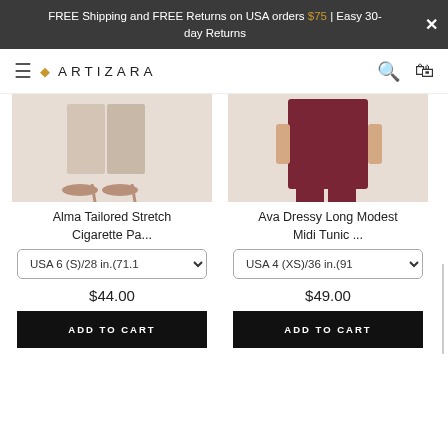FREE Shipping and FREE Returns on USA orders $75 | Easy 30-day Returns
[Figure (logo): Artizara brand logo with diamond icon and spaced lettering]
[Figure (photo): Alma Tailored Stretch Cigarette pants product photo showing shoes and pant legs]
Alma Tailored Stretch Cigarette Pa...
USA 6 (S)/28 in.(71.1
$44.00
ADD TO CART
[Figure (photo): Ava Dressy Long Modest Midi Tunic product photo showing burgundy tunic with pants]
Ava Dressy Long Modest Midi Tunic ...
USA 4 (XS)/36 in.(91
$49.00
ADD TO CART